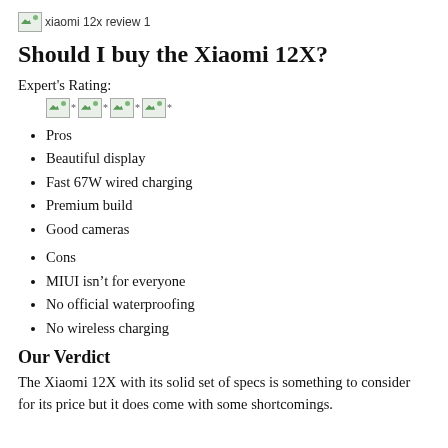[Figure (other): Broken image placeholder labeled 'xiaomi 12x review 1']
Should I buy the Xiaomi 12X?
Expert's Rating:
[Figure (other): Four broken image star rating icons each followed by an asterisk]
Pros
Beautiful display
Fast 67W wired charging
Premium build
Good cameras
Cons
MIUI isn't for everyone
No official waterproofing
No wireless charging
Our Verdict
The Xiaomi 12X with its solid set of specs is something to consider for its price but it does come with some shortcomings.